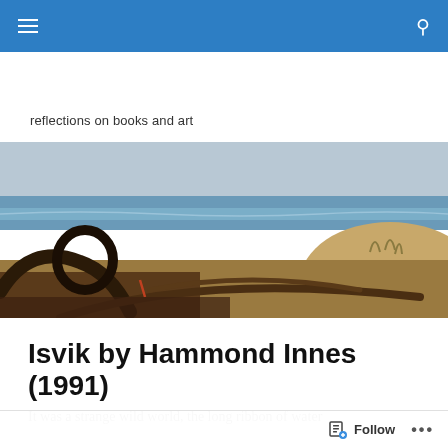reflections on books and art
[Figure (photo): Coastal beach scene with driftwood and fallen tree trunks in the foreground, ocean and grey sky in the background, sandy dunes on the right]
Isvik by Hammond Innes (1991)
It was a strange wild world, the long ribbon of water
Follow